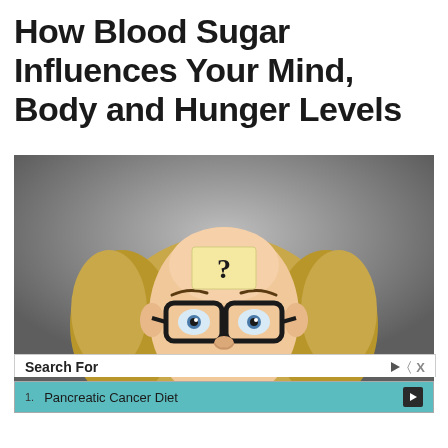How Blood Sugar Influences Your Mind, Body and Hunger Levels
[Figure (photo): Woman with curly blonde hair wearing black glasses and a sticky note with a question mark on her forehead, looking upward with a puzzled expression, against a gray background.]
Search For
1. Pancreatic Cancer Diet